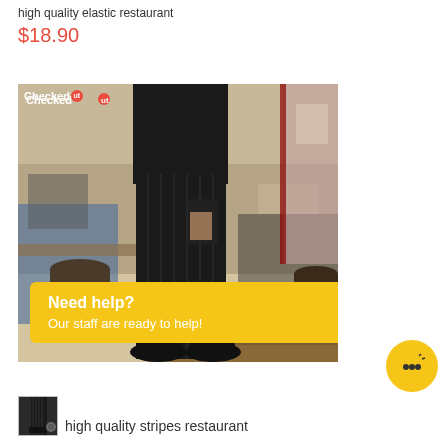high quality elastic restaurant
$18.90
[Figure (photo): Photo of a person standing in black pinstripe chef/restaurant pants and black shoes, in an outdoor restaurant/patio setting. A yellow 'Checked Out' watermark logo appears in the top-left corner of the image. A yellow chat popup overlays the lower portion of the image reading 'Need help? Our staff are ready to help!' with a close X button.]
high quality stripes restaurant